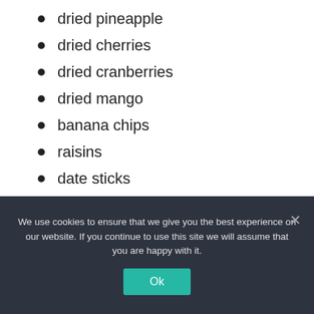dried pineapple
dried cherries
dried cranberries
dried mango
banana chips
raisins
date sticks
sunflower kernels
almonds
We use cookies to ensure that we give you the best experience on our website. If you continue to use this site we will assume that you are happy with it.
Ok